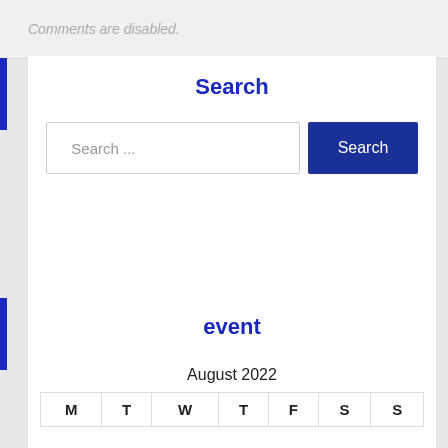Comments are disabled.
Search
[Figure (screenshot): Search input box with placeholder 'Search ...' and a dark blue Search button]
event
August 2022
| M | T | W | T | F | S | S |
| --- | --- | --- | --- | --- | --- | --- |